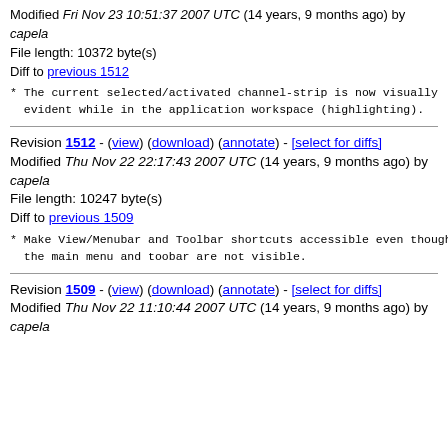Modified Fri Nov 23 10:51:37 2007 UTC (14 years, 9 months ago) by capela
File length: 10372 byte(s)
Diff to previous 1512
* The current selected/activated channel-strip is now visually
  evident while in the application workspace (highlighting).
Revision 1512 - (view) (download) (annotate) - [select for diffs]
Modified Thu Nov 22 22:17:43 2007 UTC (14 years, 9 months ago) by capela
File length: 10247 byte(s)
Diff to previous 1509
* Make View/Menubar and Toolbar shortcuts accessible even though
  the main menu and toobar are not visible.
Revision 1509 - (view) (download) (annotate) - [select for diffs]
Modified Thu Nov 22 11:10:44 2007 UTC (14 years, 9 months ago) by capela